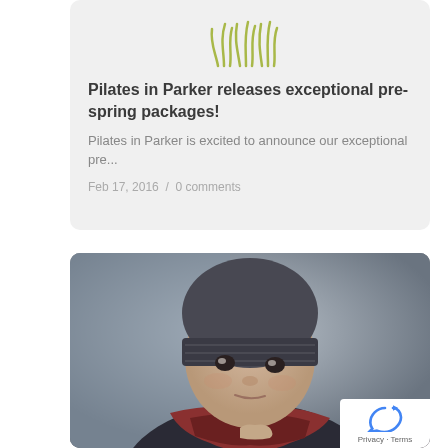[Figure (logo): Stylized grass/leaf logo in olive green color]
Pilates in Parker releases exceptional pre-spring packages!
Pilates in Parker is excited to announce our exceptional pre...
Feb 17, 2016  /  0 comments
[Figure (photo): Close-up photo of a young person wearing a dark grey beanie hat and a red/dark scarf, looking directly at camera with a neutral expression. Background is blurred grey.]